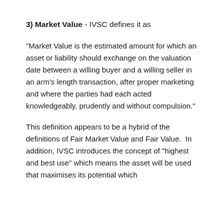3) Market Value - IVSC defines it as
"Market Value is the estimated amount for which an asset or liability should exchange on the valuation date between a willing buyer and a willing seller in an arm's length transaction, after proper marketing and where the parties had each acted knowledgeably, prudently and without compulsion."
This definition appears to be a hybrid of the definitions of Fair Market Value and Fair Value.  In addition, IVSC introduces the concept of "highest and best use" which means the asset will be used that maximises its potential which is based financially feasible...